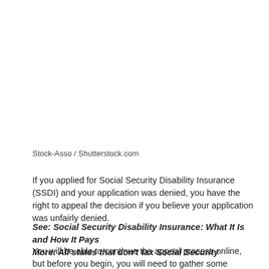Stock-Asso / Shutterstock.com
If you applied for Social Security Disability Insurance (SSDI) and your application was denied, you have the right to appeal the decision if you believe your application was unfairly denied.
See: Social Security Disability Insurance: What It Is and How It Pays
More: All states that don't tax Social Security
You will be able to continue the appeal process online, but before you begin, you will need to gather some information. This includes your name, social security number, address, and phone number, and the date of the denial decision. You will also need to collect the